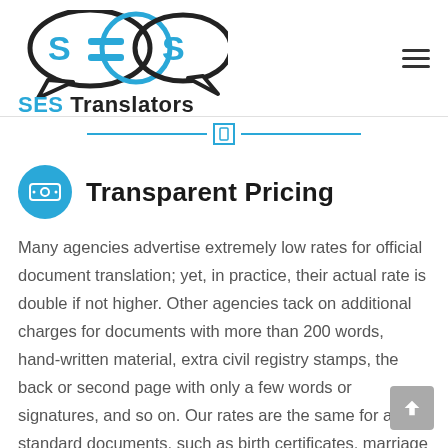[Figure (logo): SES Translators logo with two speech bubbles and text 'SES Translators']
Transparent Pricing
Many agencies advertise extremely low rates for official document translation; yet, in practice, their actual rate is double if not higher. Other agencies tack on additional charges for documents with more than 200 words, hand-written material, extra civil registry stamps, the back or second page with only a few words or signatures, and so on. Our rates are the same for all standard documents, such as birth certificates, marriage certificates, background checks, driver's licenses, and a variety of